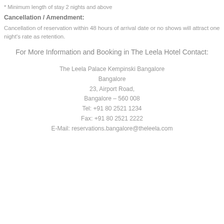* Minimum length of stay 2 nights and above
Cancellation / Amendment:
Cancellation of reservation within 48 hours of arrival date or no shows will attract one night's rate as retention.
For More Information and Booking in The Leela Hotel Contact:
The Leela Palace Kempinski Bangalore
Bangalore
23, Airport Road,
Bangalore – 560 008
Tel: +91 80 2521 1234
Fax: +91 80 2521 2222
E-Mail: reservations.bangalore@theleela.com